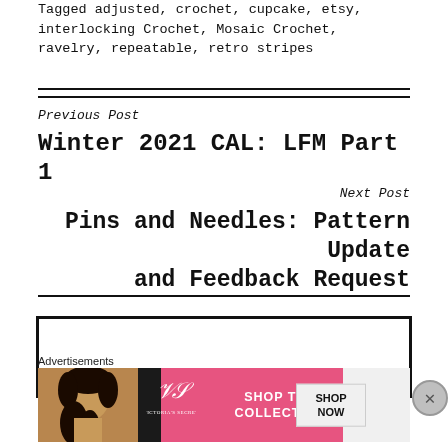Tagged adjusted, crochet, cupcake, etsy, interlocking Crochet, Mosaic Crochet, ravelry, repeatable, retro stripes
Previous Post
Winter 2021 CAL: LFM Part 1
Next Post
Pins and Needles: Pattern Update and Feedback Request
[Figure (screenshot): Advertisement banner area with Victoria's Secret ad showing a model, VS logo, 'SHOP THE COLLECTION' text, and 'SHOP NOW' button on pink background. Advertisements label above.]